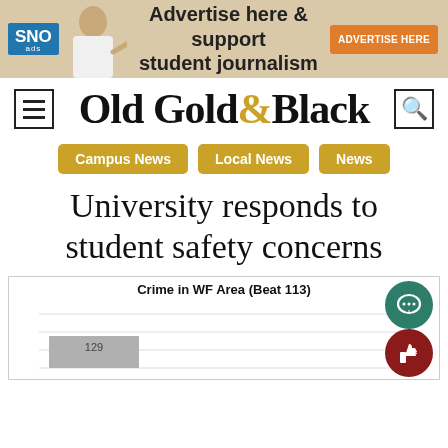[Figure (other): SNO ads banner: Advertise here & support student journalism, with orange ADVERTISE HERE button and photo of smiling woman]
[Figure (logo): Old Gold & Black newspaper masthead with hamburger menu icon on left and search icon on right]
Campus News
Local News
News
University responds to student safety concerns
[Figure (bar-chart): Crime in WF Area (Beat 113)]